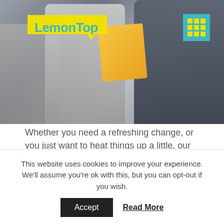[Figure (photo): Photo of people handing over a product box outdoors, with LemonTop logo badge in the upper left and a cyan grid icon in the upper right]
Whether you need a refreshing change, or you just want to heat things up a little, our services can help your brand stand out from the competition. We happy to talk to you about your project, offer advice and provide free estimates.
We are a hands on accessible team that you can contact anytime. If you would like to know about
This website uses cookies to improve your experience. We'll assume you're ok with this, but you can opt-out if you wish.
Accept   Read More